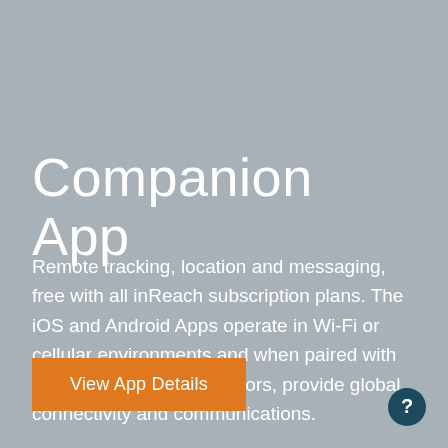Companion App
Remote tracking, location and messaging, free with all inReach subscription plans. The iOS and Android Apps operate in Wi-Fi or cellular environments and when paired with the inReach Communicators, provide global connectivity and communications.
View App Details
[Figure (other): Circular help/info icon with a question mark, teal/dark blue background, positioned bottom-right corner]